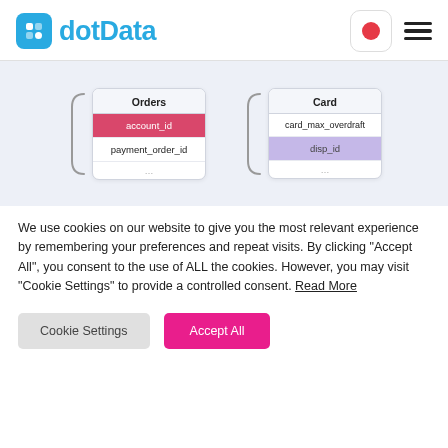[Figure (logo): dotData logo with blue rounded square icon and blue text 'dotData', Japanese flag button, and hamburger menu]
[Figure (schematic): Database schema diagram showing two table cards: 'Orders' with fields account_id (red highlight) and payment_order_id, and 'Card' with fields card_max_overdraft and disp_id (purple highlight), connected by bracket connectors on gray background]
We use cookies on our website to give you the most relevant experience by remembering your preferences and repeat visits. By clicking “Accept All”, you consent to the use of ALL the cookies. However, you may visit “Cookie Settings” to provide a controlled consent. Read More
Cookie Settings
Accept All